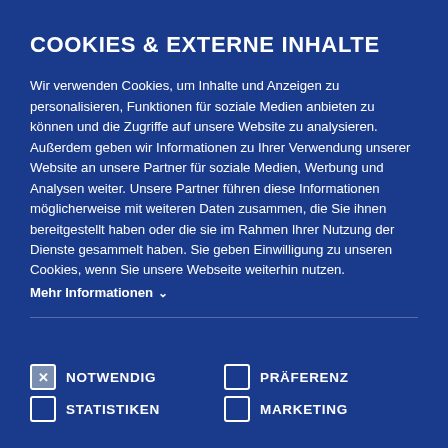COOKIES & EXTERNE INHALTE
Wir verwenden Cookies, um Inhalte und Anzeigen zu personalisieren, Funktionen für soziale Medien anbieten zu können und die Zugriffe auf unsere Website zu analysieren. Außerdem geben wir Informationen zu Ihrer Verwendung unserer Website an unsere Partner für soziale Medien, Werbung und Analysen weiter. Unsere Partner führen diese Informationen möglicherweise mit weiteren Daten zusammen, die Sie ihnen bereitgestellt haben oder die sie im Rahmen Ihrer Nutzung der Dienste gesammelt haben. Sie geben Einwilligung zu unseren Cookies, wenn Sie unsere Webseite weiterhin nutzen. Mehr Informationen ∨
✗ NOTWENDIG
☐ PRÄFERENZ
☐ STATISTIKEN
☐ MARKETING